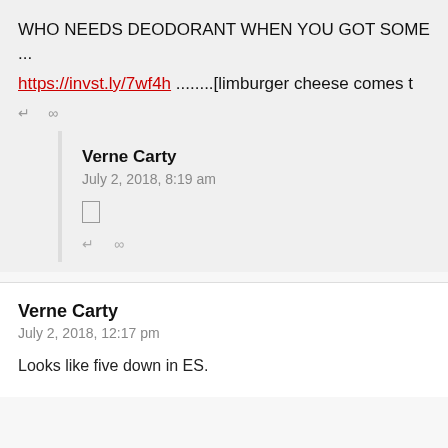WHO NEEDS DEODORANT WHEN YOU GOT SOME ...
https://invst.ly/7wf4h ........[limburger cheese comes t
↵  ∞
Verne Carty
July 2, 2018, 8:19 am
□
↵  ∞
Verne Carty
July 2, 2018, 12:17 pm
Looks like five down in ES.